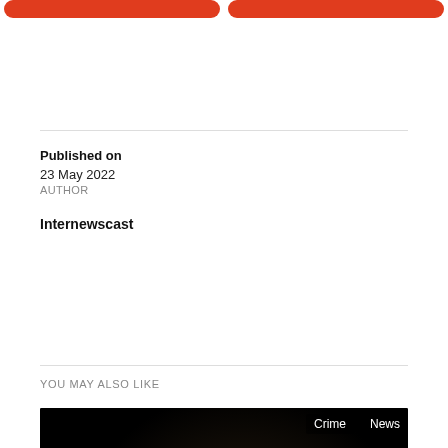[Figure (other): Two red rounded-rectangle buttons at the top of the page (partially visible)]
Published on
23 May 2022
AUTHOR
Internewscast
YOU MAY ALSO LIKE
[Figure (photo): Photo of a man making a peace sign gesture at a podium in front of a microphone, with a blue 'SAVE' banner visible at the bottom. Labels 'Crime' and 'News' appear in the upper right corner of the image.]